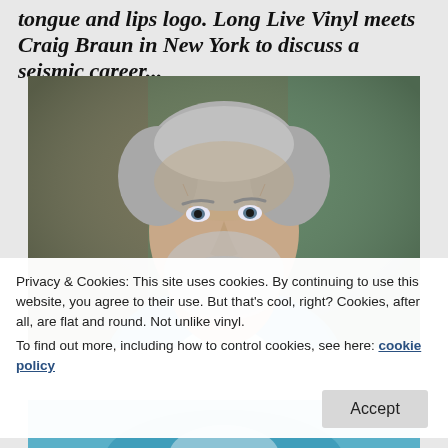tongue and lips logo. Long Live Vinyl meets Craig Braun in New York to discuss a seismic career...
[Figure (photo): Close-up portrait photograph of an older man with gray hair and gray beard, wearing a blue shirt, looking directly at the camera with a serious expression. Background is blurred with brown and green tones.]
Privacy & Cookies: This site uses cookies. By continuing to use this website, you agree to their use. But that's cool, right? Cookies, after all, are flat and round. Not unlike vinyl.
To find out more, including how to control cookies, see here: cookie policy
[Figure (photo): Partial view of a person in a blue shirt at the bottom of the page, partially obscured by the cookie overlay.]